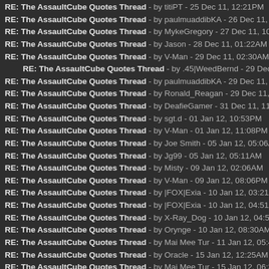RE: The AssaultCube Quotes Thread - by titiPT - 25 Dec 11, 12:21PM
RE: The AssaultCube Quotes Thread - by paulmuaddibKA - 26 Dec 11, 02:45A
RE: The AssaultCube Quotes Thread - by MykeGregory - 27 Dec 11, 10:55PM
RE: The AssaultCube Quotes Thread - by Jason - 28 Dec 11, 01:22AM
RE: The AssaultCube Quotes Thread - by V-Man - 29 Dec 11, 02:30AM
RE: The AssaultCube Quotes Thread - by .45|WeedBernd - 29 Dec 11, 05:42
RE: The AssaultCube Quotes Thread - by paulmuaddibKA - 29 Dec 11, 09:13P
RE: The AssaultCube Quotes Thread - by Ronald_Reagan - 29 Dec 11, 09:42P
RE: The AssaultCube Quotes Thread - by DeafieGamer - 31 Dec 11, 11:27AM
RE: The AssaultCube Quotes Thread - by sgt.d - 01 Jan 12, 10:53PM
RE: The AssaultCube Quotes Thread - by V-Man - 01 Jan 12, 11:08PM
RE: The AssaultCube Quotes Thread - by Joe Smith - 05 Jan 12, 05:06AM
RE: The AssaultCube Quotes Thread - by Jg99 - 05 Jan 12, 05:11AM
RE: The AssaultCube Quotes Thread - by Misty - 09 Jan 12, 02:06AM
RE: The AssaultCube Quotes Thread - by V-Man - 09 Jan 12, 08:06PM
RE: The AssaultCube Quotes Thread - by |FOX|Exia - 10 Jan 12, 03:21AM
RE: The AssaultCube Quotes Thread - by |FOX|Exia - 10 Jan 12, 04:51AM
RE: The AssaultCube Quotes Thread - by X-Ray_Dog - 10 Jan 12, 04:56AM
RE: The AssaultCube Quotes Thread - by Orynge - 10 Jan 12, 08:30AM
RE: The AssaultCube Quotes Thread - by Mai Mee Tur - 11 Jan 12, 05:43AM
RE: The AssaultCube Quotes Thread - by Oracle - 15 Jan 12, 12:25AM
RE: The AssaultCube Quotes Thread - by Mai Mee Tur - 15 Jan 12, 06:34PM
RE: The AssaultCube Quotes Thread - by Ronald_Reagan - 16 Jan 12, 12:49A
RE: The AssaultCube Quotes Thread - by lucky - 16 Jan 12, 02:56AM
RE: The AssaultCube Quotes Thread - by |FOX|Exia - 18 Jan 12, 02:20AM